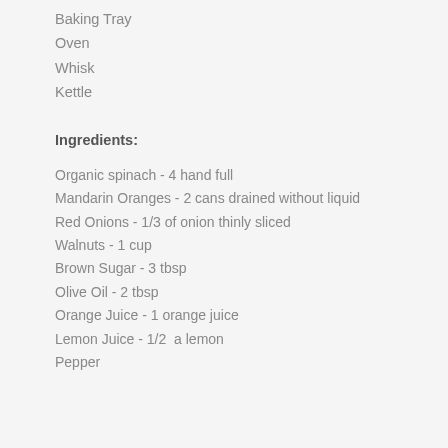Baking Tray
Oven
Whisk
Kettle
Ingredients:
Organic spinach - 4 hand full
Mandarin Oranges - 2 cans drained without liquid
Red Onions - 1/3 of onion thinly sliced
Walnuts - 1 cup
Brown Sugar - 3 tbsp
Olive Oil - 2 tbsp
Orange Juice - 1 orange juice
Lemon Juice - 1/2  a lemon
Pepper